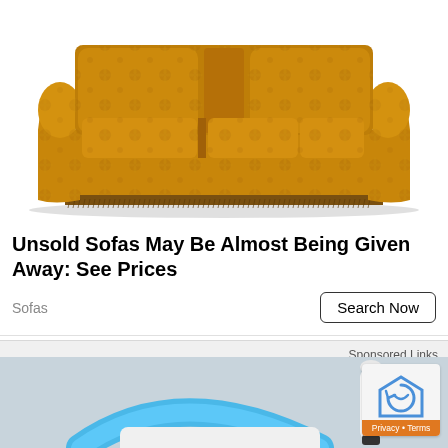[Figure (photo): A large gold/amber damask-upholstered three-seat sofa with ornate floral pattern and fringe trim along the bottom, photographed on a white background.]
Unsold Sofas May Be Almost Being Given Away: See Prices
Sofas
Search Now
Sponsored Links
[Figure (photo): Partial view of a blue and white baby/toddler toy or device, with a white cylindrical object visible on the right side. A reCAPTCHA / Privacy badge overlay is in the bottom-right corner.]